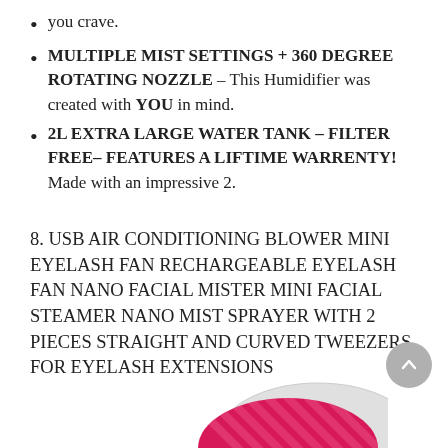you crave.
MULTIPLE MIST SETTINGS + 360 DEGREE ROTATING NOZZLE – This Humidifier was created with YOU in mind.
2L EXTRA LARGE WATER TANK – FILTER FREE– FEATURES A LIFTIME WARRENTY! Made with an impressive 2.
8. USB AIR CONDITIONING BLOWER MINI EYELASH FAN RECHARGEABLE EYELASH FAN NANO FACIAL MISTER MINI FACIAL STEAMER NANO MIST SPRAYER WITH 2 PIECES STRAIGHT AND CURVED TWEEZERS FOR EYELASH EXTENSIONS
[Figure (photo): Partial view of a pink/red circular product (likely the nano facial mister) visible at the bottom right of the page.]